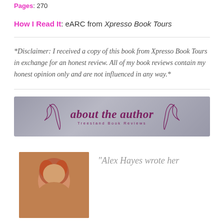Pages: 270
How I Read It: eARC from Xpresso Book Tours
*Disclaimer: I received a copy of this book from Xpresso Book Tours in exchange for an honest review. All of my book reviews contain my honest opinion only and are not influenced in any way.*
[Figure (illustration): Decorative banner reading 'about the author' in script font with antler decorations, subtitle 'Treestand Book Reviews', on a dark grey/blue background]
[Figure (photo): Author photo - woman with reddish hair from shoulders up, warm orange/brown background]
"Alex Hayes wrote her